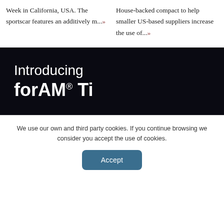Week in California, USA. The sportscar features an additively m...»
House-backed compact to help smaller US-based suppliers increase the use of...»
[Figure (photo): Dark banner image with white text reading 'Introducing forAM® Ti' on a nearly black background]
We use our own and third party cookies. If you continue browsing we consider you accept the use of cookies.
Accept